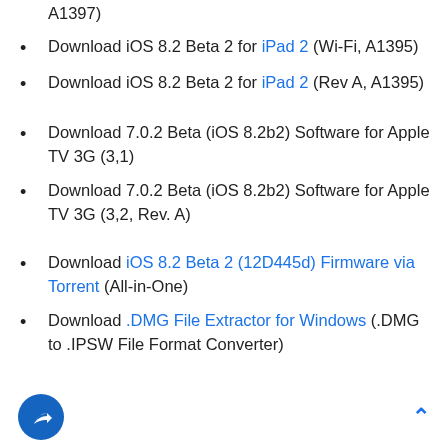Download iOS 8.2 Beta 2 for iPad 2 (Wi-Fi, A1395)
Download iOS 8.2 Beta 2 for iPad 2 (Rev A, A1395)
Download 7.0.2 Beta (iOS 8.2b2) Software for Apple TV 3G (3,1)
Download 7.0.2 Beta (iOS 8.2b2) Software for Apple TV 3G (3,2, Rev. A)
Download iOS 8.2 Beta 2 (12D445d) Firmware via Torrent (All-in-One)
Download .DMG File Extractor for Windows (.DMG to .IPSW File Format Converter)